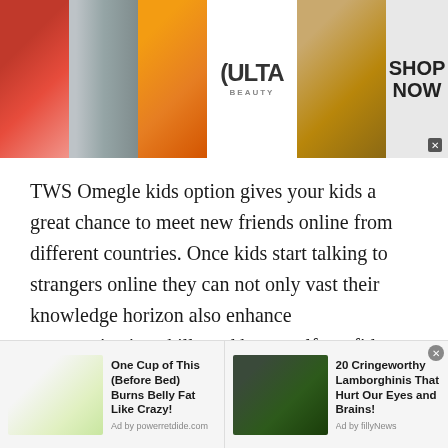[Figure (photo): Top banner advertisement for ULTA Beauty showing beauty/makeup images (lips, brush, eyes) and ULTA logo with SHOP NOW call to action]
TWS Omegle kids option gives your kids a great chance to meet new friends online from different countries. Once kids start talking to strangers online they can not only vast their knowledge horizon also enhance communication skills and boost self-confidence.
In short, TWS Omegle kids chat is a safe, secure and convenient platform for all kids. Parents can surely
[Figure (photo): Bottom ad strip with two advertisements: 1) One Cup of This (Before Bed) Burns Belly Fat Like Crazy! Ad by powerretdide.com, with image of person drinking; 2) 20 Cringeworthy Lamborghinis That Hurt Our Eyes and Brains! Ad by fillyNews, with green Lamborghini car image]